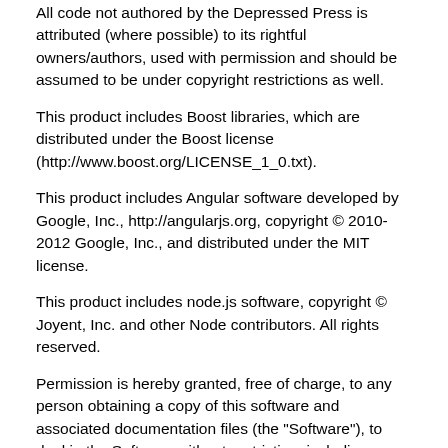All code not authored by the Depressed Press is attributed (where possible) to its rightful owners/authors, used with permission and should be assumed to be under copyright restrictions as well.
This product includes Boost libraries, which are distributed under the Boost license (http://www.boost.org/LICENSE_1_0.txt).
This product includes Angular software developed by Google, Inc., http://angularjs.org, copyright © 2010-2012 Google, Inc., and distributed under the MIT license.
This product includes node.js software, copyright © Joyent, Inc. and other Node contributors. All rights reserved.
Permission is hereby granted, free of charge, to any person obtaining a copy of this software and associated documentation files (the "Software"), to deal in the Software without restriction, including without limitation the rights to use, copy, modify, merge, publish, distribute, sublicense, and/or sell copies of the Software, and to permit persons to whom the Software is furnished to do so, subject to the following